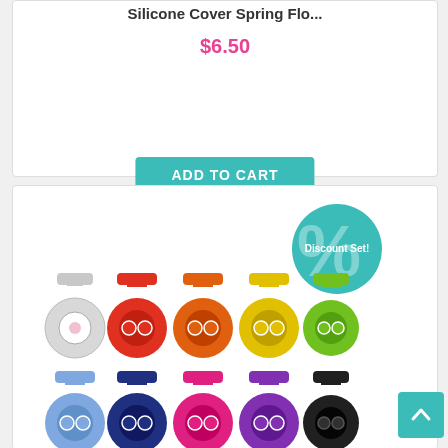Silicone Cover Spring Flo...
$6.50
ADD TO CART
[Figure (photo): Product listing showing colorful silicone nurse watch covers in multiple colors (white/crystal, red, orange, yellow, green, light blue, dark blue, pink, purple, black) displayed in two rows, with a teal circular 'Discount Set!' badge overlay]
[Figure (other): Back to top arrow button (teal square with white chevron/caret up arrow)]